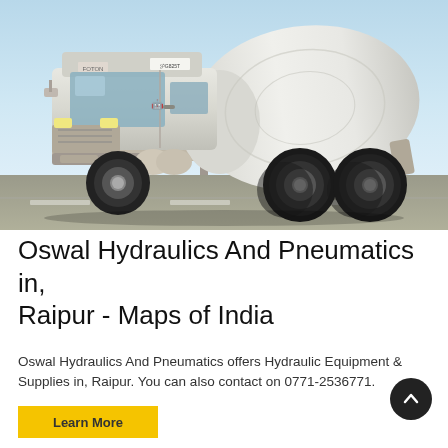[Figure (photo): A white concrete mixer truck (cement truck) parked on a paved lot with a light blue sky background. The truck has a large rotating drum on the back and multiple axles with large tires.]
Oswal Hydraulics And Pneumatics in, Raipur - Maps of India
Oswal Hydraulics And Pneumatics offers Hydraulic Equipment & Supplies in, Raipur. You can also contact on 0771-2536771.
Learn More